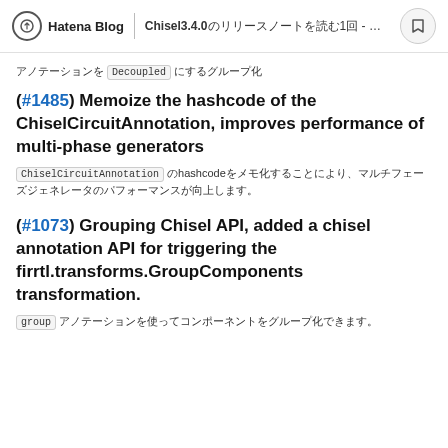Hatena Blog | Chisel3.4.0のリリースノートを読む1回 - 概要
アノテーションを Decoupled にするグループ化
(#1485) Memoize the hashcode of the ChiselCircuitAnnotation, improves performance of multi-phase generators
ChiselCircuitAnnotation のhashcodeをメモ化することにより、マルチフェーズジェネレータのパフォーマンスが向上します。
(#1073) Grouping Chisel API, added a chisel annotation API for triggering the firrtl.transforms.GroupComponents transformation.
group アノテーションを使ってコンポーネントをグループ化できます。